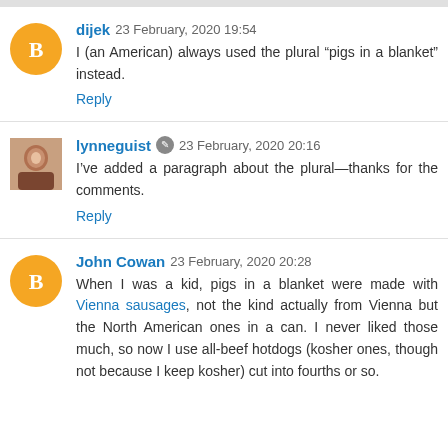dijek 23 February, 2020 19:54
I (an American) always used the plural "pigs in a blanket" instead.
Reply
lynneguist 23 February, 2020 20:16
I've added a paragraph about the plural—thanks for the comments.
Reply
John Cowan 23 February, 2020 20:28
When I was a kid, pigs in a blanket were made with Vienna sausages, not the kind actually from Vienna but the North American ones in a can. I never liked those much, so now I use all-beef hotdogs (kosher ones, though not because I keep kosher) cut into fourths or so.